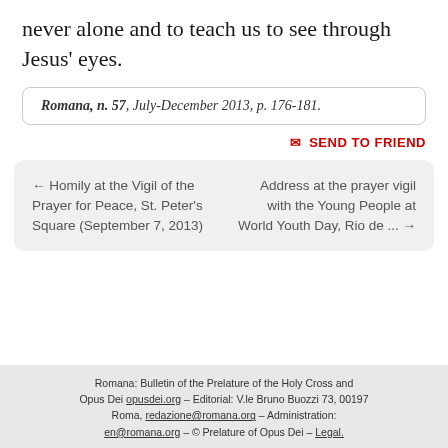never alone and to teach us to see through Jesus' eyes.
Romana, n. 57, July-December 2013, p. 176-181.
✉ SEND TO FRIEND
← Homily at the Vigil of the Prayer for Peace, St. Peter's Square (September 7, 2013)
Address at the prayer vigil with the Young People at World Youth Day, Rio de ... →
Romana: Bulletin of the Prelature of the Holy Cross and Opus Dei opusdei.org – Editorial: V.le Bruno Buozzi 73, 00197 Roma, redazione@romana.org – Administration: en@romana.org – © Prelature of Opus Dei – Legal.